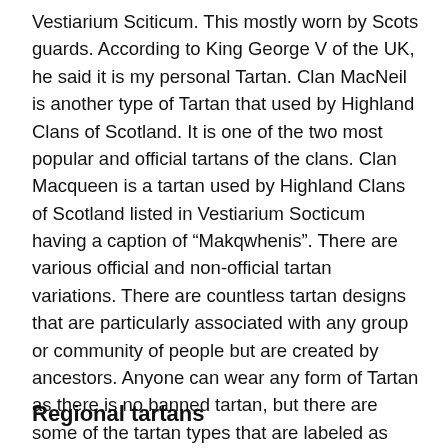Vestiarium Sciticum. This mostly worn by Scots guards. According to King George V of the UK, he said it is my personal Tartan. Clan MacNeil is another type of Tartan that used by Highland Clans of Scotland. It is one of the two most popular and official tartans of the clans. Clan Macqueen is a tartan used by Highland Clans of Scotland listed in Vestiarium Socticum having a caption of “Makqwhenis”. There are various official and non-official tartan variations. There are countless tartan designs that are particularly associated with any group or community of people but are created by ancestors. Anyone can wear any form of Tartan as there is no banned tartan, but there are some of the tartan types that are labeled as restricted tartans because they are associated with and made for Royal Families of Chiefs.
Regional tartans